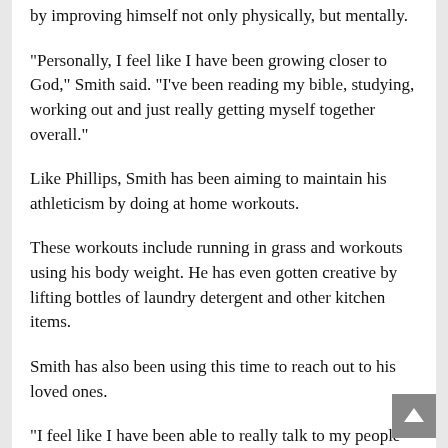by improving himself not only physically, but mentally.
"Personally, I feel like I have been growing closer to God," Smith said. "I've been reading my bible, studying, working out and just really getting myself together overall."
Like Phillips, Smith has been aiming to maintain his athleticism by doing at home workouts.
These workouts include running in grass and workouts using his body weight. He has even gotten creative by lifting bottles of laundry detergent and other kitchen items.
Smith has also been using this time to reach out to his loved ones.
"I feel like I have been able to really talk to my people and communicate with them a lot more than I normally do," Smith said.
At a time like this it is only natural for one to increase their social media usage. However, Smith has been using his social media for motivational purposes.